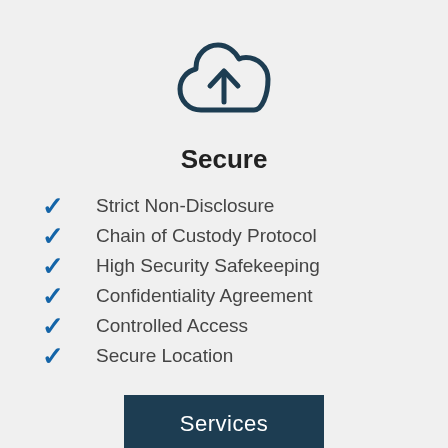[Figure (illustration): Cloud upload icon — outline style cloud with an upward arrow, dark navy blue color]
Secure
Strict Non-Disclosure
Chain of Custody Protocol
High Security Safekeeping
Confidentiality Agreement
Controlled Access
Secure Location
Services